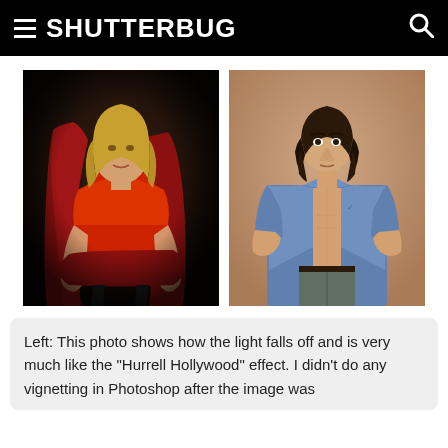SHUTTERBUG
[Figure (photo): Two studio portrait photos side by side. Left: a blonde woman in a red top seated in a red ornate chair against a dark background, dramatic lighting. Right: a young man in an open blue shirt with hands on hips against a tan/brown textured background.]
Left: This photo shows how the light falls off and is very much like the "Hurrell Hollywood" effect. I didn't do any vignetting in Photoshop after the image was